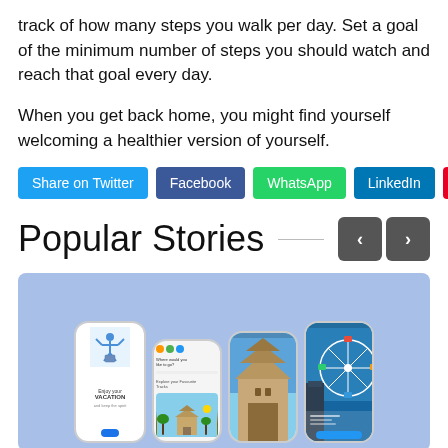track of how many steps you walk per day. Set a goal of the minimum number of steps you should watch and reach that goal every day.
When you get back home, you might find yourself welcoming a healthier version of yourself.
Share on Twitter | Facebook | WhatsApp | LinkedIn | Pin It
Popular Stories
[Figure (screenshot): Screenshot of a travel app UI showing multiple phone mockups with vacation and travel content on a light blue background]